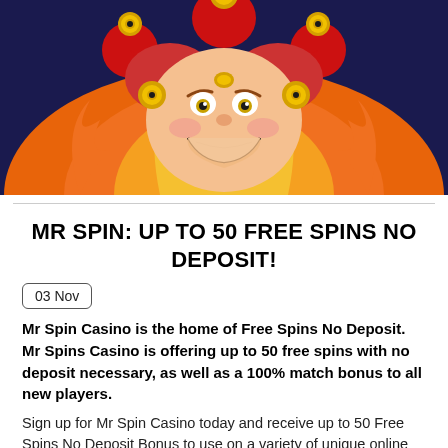[Figure (illustration): Colorful cartoon jester/joker character with red and gold hat, smiling face with wide grin, set against orange flames and dark blue background. Casino slot game themed image.]
MR SPIN: UP TO 50 FREE SPINS NO DEPOSIT!
03 Nov
Mr Spin Casino is the home of Free Spins No Deposit. Mr Spins Casino is offering up to 50 free spins with no deposit necessary, as well as a 100% match bonus to all new players.
Sign up for Mr Spin Casino today and receive up to 50 Free Spins No Deposit Bonus to use on a variety of unique online slot casino games. When you make your